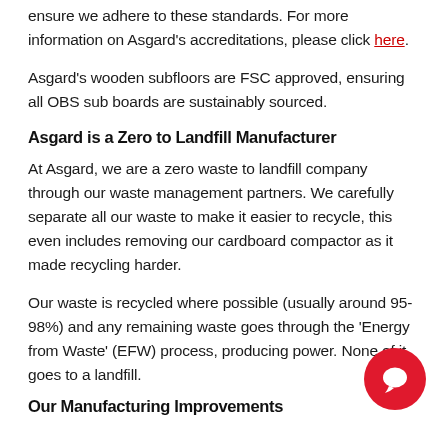ensure we adhere to these standards. For more information on Asgard's accreditations, please click here.
Asgard's wooden subfloors are FSC approved, ensuring all OBS sub boards are sustainably sourced.
Asgard is a Zero to Landfill Manufacturer
At Asgard, we are a zero waste to landfill company through our waste management partners. We carefully separate all our waste to make it easier to recycle, this even includes removing our cardboard compactor as it made recycling harder.
Our waste is recycled where possible (usually around 95-98%) and any remaining waste goes through the 'Energy from Waste' (EFW) process, producing power. None of it goes to a landfill.
Our Manufacturing Improvements